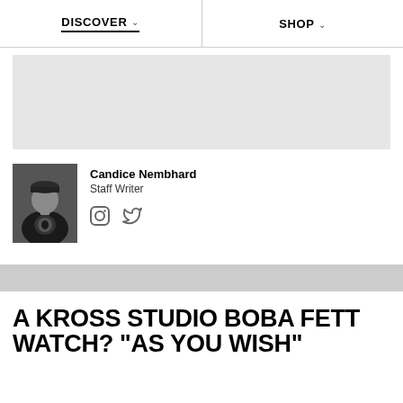DISCOVER   SHOP
[Figure (other): Gray advertisement placeholder block]
[Figure (photo): Black and white photo of Candice Nembhard, Staff Writer, wearing a black t-shirt with Africa graphic and a headband]
Candice Nembhard
Staff Writer
[Figure (other): Instagram and Twitter social media icons]
[Figure (other): Gray advertisement bar]
A KROSS STUDIO BOBA FETT WATCH? "AS YOU WISH"